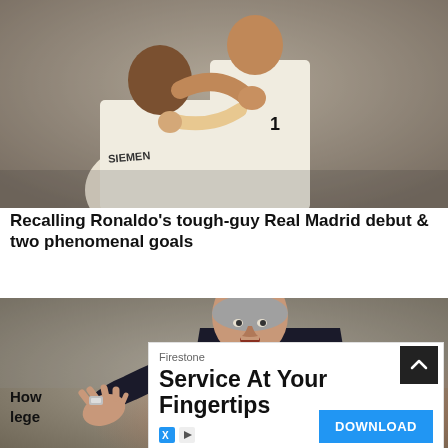[Figure (photo): Two football players in white Real Madrid kits embracing on the pitch; SIEMENS sponsor visible on jersey]
Recalling Ronaldo’s tough-guy Real Madrid debut & two phenomenal goals
[Figure (photo): A football manager in a dark suit gesturing with one hand open, mouth open, on the touchline]
How ... lege... r's
[Figure (other): Advertisement overlay: Firestone - Service At Your Fingertips - DOWNLOAD button]